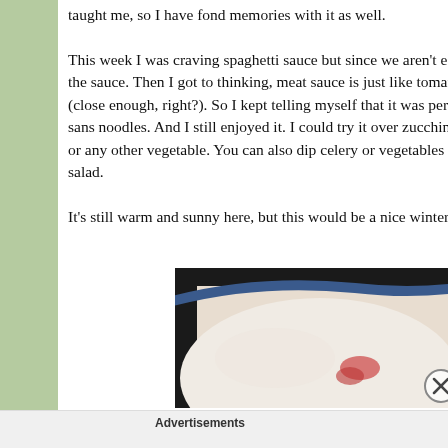taught me, so I have fond memories with it as well.

This week I was craving spaghetti sauce but since we aren't eating the sauce. Then I got to thinking, meat sauce is just like tomato (close enough, right?). So I kept telling myself that it was perfect sans noodles. And I still enjoyed it. I could try it over zucchini or any other vegetable. You can also dip celery or vegetables in salad.

It's still warm and sunny here, but this would be a nice winter
[Figure (photo): Close-up photo of a bowl with blue rim containing what appears to be sauce or food, with dark background framing]
Advertisements